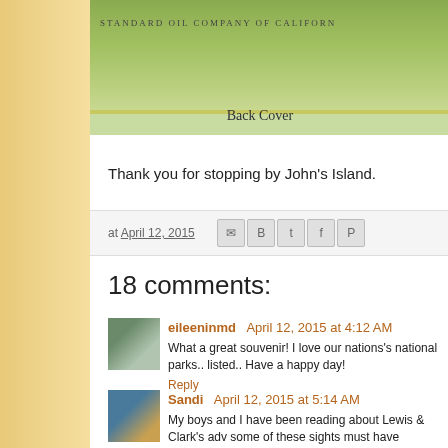[Figure (photo): Top portion of a book back cover image for Standard Oil Company of California, green-toned with industrial/landscape imagery]
Back Cover
Thank you for stopping by John's Island.
at April 12, 2015 [share icons: Email, Blogger, Twitter, Facebook, Pinterest]
18 comments:
eileeninmd  April 12, 2015 at 4:12 AM
What a great souvenir! I love our nations's national parks.. listed.. Have a happy day!
Reply
Sandi  April 12, 2015 at 5:14 AM
My boys and I have been reading about Lewis & Clark's adv some of these sights must have appeared to them! Truly a Standard Oil to publish the book. was that an attempt to ge